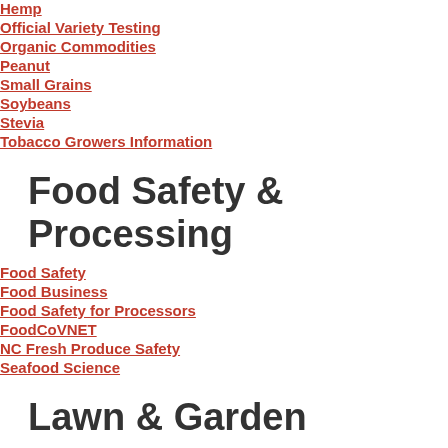Hemp
Official Variety Testing
Organic Commodities
Peanut
Small Grains
Soybeans
Stevia
Tobacco Growers Information
Food Safety & Processing
Food Safety
Food Business
Food Safety for Processors
FoodCoVNET
NC Fresh Produce Safety
Seafood Science
Lawn & Garden
Community Gardens
Composting